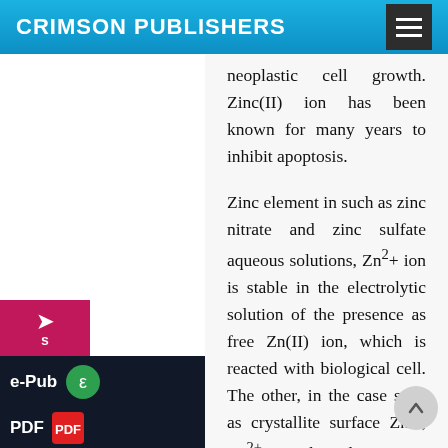CRIMSON PUBLISHERS
neoplastic cell growth. Zinc(II) ion has been known for many years to inhibit apoptosis.
Zinc element in such as zinc nitrate and zinc sulfate aqueous solutions, Zn2+ ion is stable in the electrolytic solution of the presence as free Zn(II) ion, which is reacted with biological cell. The other, in the case such as crystallite surface ZnO, Zn2+ ion released is present as free zinc ion. Hence, these zinc ions influence the major stage of the processes of initiation, promotion, progression, and metastasis of tumorigenesis. Given the importance of these channels and signaling pathways in cell